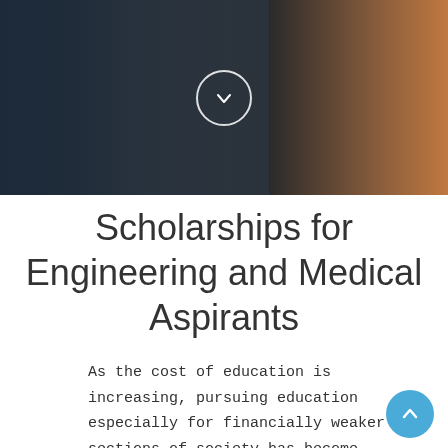[Figure (photo): Graduation photo background showing people in academic regalia (dark gowns with blue and orange/copper colored sashes), with a circular chevron/arrow button overlaid in the center]
Scholarships for Engineering and Medical Aspirants
As the cost of education is increasing, pursuing education especially for financially weaker sections of society has become